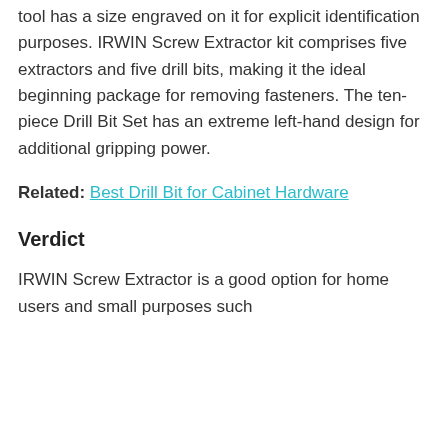tool has a size engraved on it for explicit identification purposes. IRWIN Screw Extractor kit comprises five extractors and five drill bits, making it the ideal beginning package for removing fasteners. The ten-piece Drill Bit Set has an extreme left-hand design for additional gripping power.
Related: Best Drill Bit for Cabinet Hardware
Verdict
IRWIN Screw Extractor is a good option for home users and small purposes such